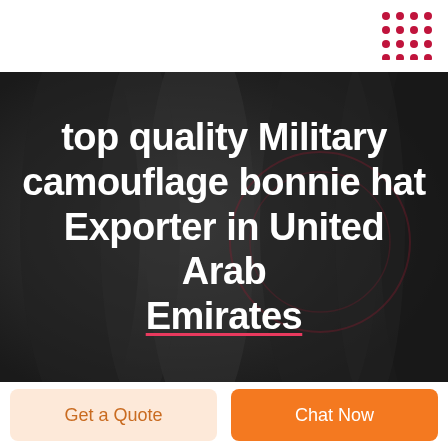[Figure (other): Red dot grid decorative element in top right corner]
top quality Military camouflage bonnie hat Exporter in United Arab Emirates
Get a Quote
Chat Now